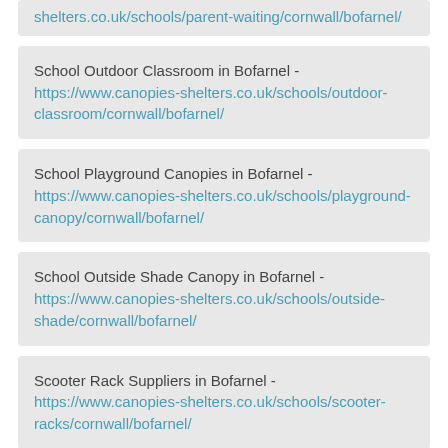shelters.co.uk/schools/parent-waiting/cornwall/bofarnel/
School Outdoor Classroom in Bofarnel - https://www.canopies-shelters.co.uk/schools/outdoor-classroom/cornwall/bofarnel/
School Playground Canopies in Bofarnel - https://www.canopies-shelters.co.uk/schools/playground-canopy/cornwall/bofarnel/
School Outside Shade Canopy in Bofarnel - https://www.canopies-shelters.co.uk/schools/outside-shade/cornwall/bofarnel/
Scooter Rack Suppliers in Bofarnel - https://www.canopies-shelters.co.uk/schools/scooter-racks/cornwall/bofarnel/
Contact Us
We are able to offer you all the information you will need on our selection of functional and good-looking MUGA pitch canopy in